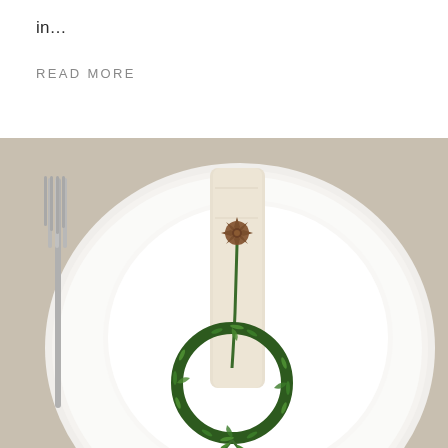in…
READ MORE
[Figure (photo): Overhead view of a holiday table setting with white ceramic plates stacked on a linen tablecloth. A rolled linen napkin on the plate is decorated with a small rosemary wreath and a star anise on top. A fork is visible to the left of the plates.]